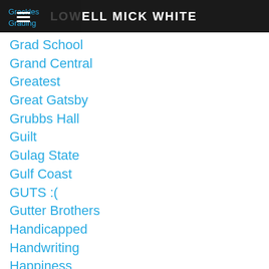LOWELL MICK WHITE
Grad School
Grand Central
Greatest
Great Gatsby
Grubbs Hall
Guilt
Gulag State
Gulf Coast
GUTS :(
Gutter Brothers
Handicapped
Handwriting
Happiness
Happy Endings
Harvey
Head
#heartbreak